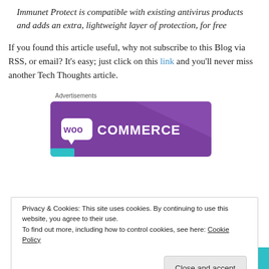Immunet Protect is compatible with existing antivirus products and adds an extra, lightweight layer of protection, for free
If you found this article useful, why not subscribe to this Blog via RSS, or email? It's easy; just click on this link and you'll never miss another Tech Thoughts article.
[Figure (other): WooCommerce advertisement banner with purple background and white WooCommerce logo]
Privacy & Cookies: This site uses cookies. By continuing to use this website, you agree to their use.
To find out more, including how to control cookies, see here: Cookie Policy